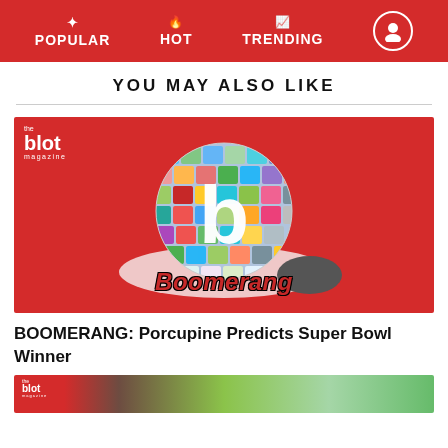POPULAR | HOT | TRENDING
YOU MAY ALSO LIKE
[Figure (illustration): The Blot Magazine article thumbnail featuring Boomerang logo — a disco-ball style globe with colorful mosaic tiles and a large white letter 'b', with 'Boomerang' text in red italic lettering on a white oval ring, all on a red background.]
BOOMERANG: Porcupine Predicts Super Bowl Winner
[Figure (photo): Partial thumbnail image at bottom of page showing the start of another Blot Magazine article, with green outdoor background.]